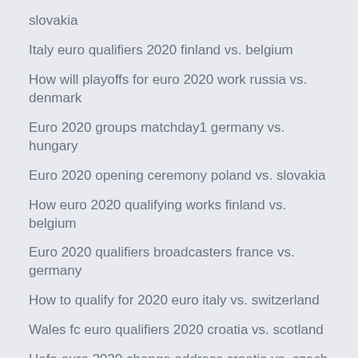slovakia
Italy euro qualifiers 2020 finland vs. belgium
How will playoffs for euro 2020 work russia vs. denmark
Euro 2020 groups matchday1 germany vs. hungary
Euro 2020 opening ceremony poland vs. slovakia
How euro 2020 qualifying works finland vs. belgium
Euro 2020 qualifiers broadcasters france vs. germany
How to qualify for 2020 euro italy vs. switzerland
Wales fc euro qualifiers 2020 croatia vs. scotland
Uefa euro 2020 change address croatia vs. czech republic
Euro 2020 q spain vs. sweden